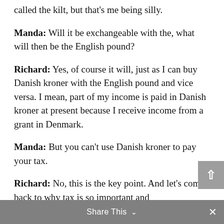called the kilt, but that's me being silly.
Manda: Will it be exchangeable with the, what will then be the English pound?
Richard: Yes, of course it will, just as I can buy Danish kroner with the English pound and vice versa. I mean, part of my income is paid in Danish kroner at present because I receive income from a grant in Denmark.
Manda: But you can't use Danish kroner to pay your tax.
Richard: No, this is the key point. And let's come back to why tax is so important and
Share This ∨  ×